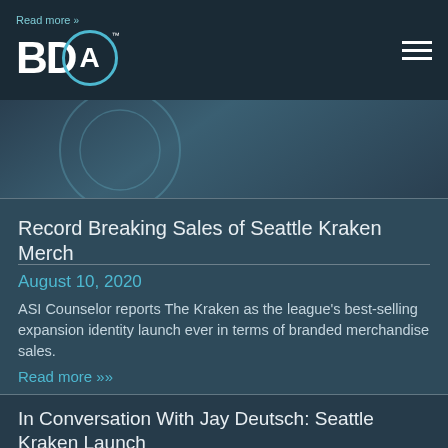Read more » BDA™
[Figure (screenshot): BDA logo with blue circle and white BD letters, TM mark]
[Figure (photo): Dark teal hero image area with faint background graphic]
Record Breaking Sales of Seattle Kraken Merch
August 10, 2020
ASI Counselor reports The Kraken as the league's best-selling expansion identity launch ever in terms of branded merchandise sales.
Read more »
In Conversation With Jay Deutsch: Seattle Kraken Launch